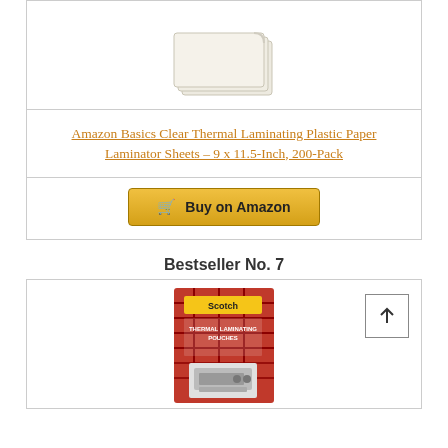[Figure (photo): Product photo of Amazon Basics Clear Thermal Laminating Plastic sheets, white translucent stacked sheets]
Amazon Basics Clear Thermal Laminating Plastic Paper Laminator Sheets – 9 x 11.5-Inch, 200-Pack
Buy on Amazon
Bestseller No. 7
[Figure (photo): Product photo of Scotch Thermal Laminating Pouches box with red plaid design and laminator image]